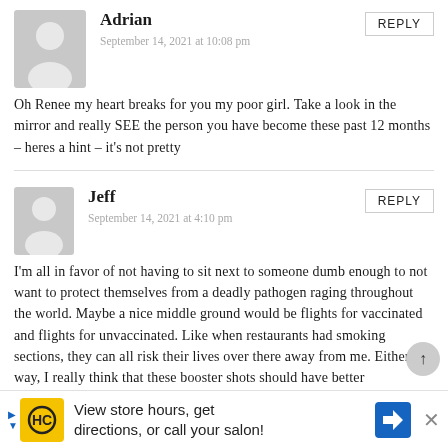Adrian
September 14, 2021 at 10:08 pm
Oh Renee my heart breaks for you my poor girl. Take a look in the mirror and really SEE the person you have become these past 12 months – heres a hint – it's not pretty
Jeff
September 14, 2021 at 4:10 pm
I'm all in favor of not having to sit next to someone dumb enough to not want to protect themselves from a deadly pathogen raging throughout the world. Maybe a nice middle ground would be flights for vaccinated and flights for unvaccinated. Like when restaurants had smoking sections, they can all risk their lives over there away from me. Either way, I really think that these booster shots should have better tracking/records keeping. It would be a great opportunity to make requirements like this verifiable.
View store hours, get directions, or call your salon!